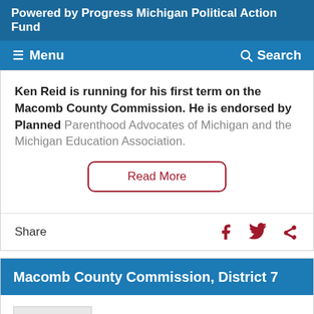Powered by Progress Michigan Political Action Fund
Menu  Search
Ken Reid is running for his first term on the Macomb County Commission. He is endorsed by Planned Parenthood Advocates of Michigan and the Michigan Education Association.
Read More
Share
Macomb County Commission, District 7
DEMOCRAT
Michael E. LaBuhn